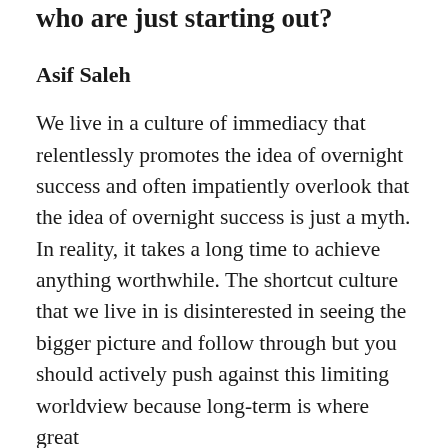who are just starting out?
Asif Saleh
We live in a culture of immediacy that relentlessly promotes the idea of overnight success and often impatiently overlook that the idea of overnight success is just a myth. In reality, it takes a long time to achieve anything worthwhile. The shortcut culture that we live in is disinterested in seeing the bigger picture and follow through but you should actively push against this limiting worldview because long-term is where great